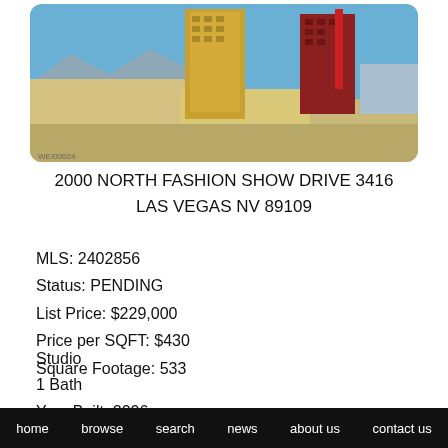[Figure (photo): Aerial/street view photograph of Las Vegas Strip showing golden high-rise towers and other casino buildings]
2000 NORTH FASHION SHOW DRIVE 3416
LAS VEGAS NV 89109
MLS:  2402856
Status:  PENDING
List Price:  $229,000
Price per SQFT:  $430
Square Footage:  533
Studio
1 Bath
Year Built:  2006
home   browse   search   news   about us   contact us